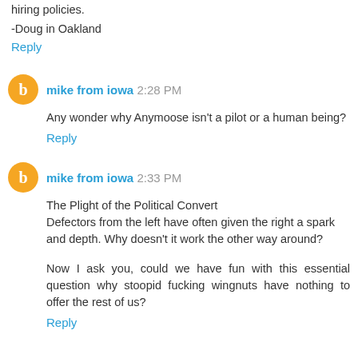hiring policies.
-Doug in Oakland
Reply
mike from iowa  2:28 PM
Any wonder why Anymoose isn't a pilot or a human being?
Reply
mike from iowa  2:33 PM
The Plight of the Political Convert
Defectors from the left have often given the right a spark and depth. Why doesn't it work the other way around?
Now I ask you, could we have fun with this essential question why stoopid fucking wingnuts have nothing to offer the rest of us?
Reply